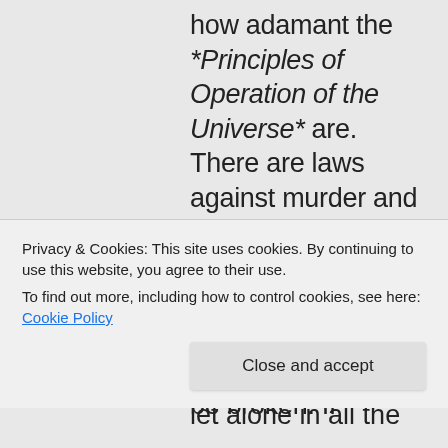how adamant the *Principles of Operation of the Universe* are. There are laws against murder and theft, but murder and theft occur, and are sometimes punished. The “Law of Gravity” cannot be broken. If
Privacy & Cookies: This site uses cookies. By continuing to use this website, you agree to their use.
To find out more, including how to control cookies, see here: Cookie Policy
Close and accept
let alone in all the